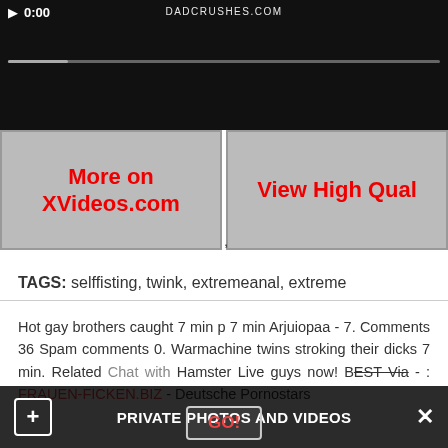[Figure (screenshot): Video player showing dark/black frame with timestamp 0:00, DADCRUSHES.COM watermark, and progress bar]
More on XVideos.com
View High Qual
TAGS: selffisting, twink, extremeanal, extreme
Hot gay brothers caught 7 min p 7 min Arjuiopaa - 7. Comments 36 Spam comments 0. Warmachine twins stroking their dicks 7 min. Related Chat with Hamster Live guys now! BEST Via - : FRAUEN-FICKEN.BIZ - Deutsche Pornostars
PRIVATE PHOTOS AND VIDEOS
GO!